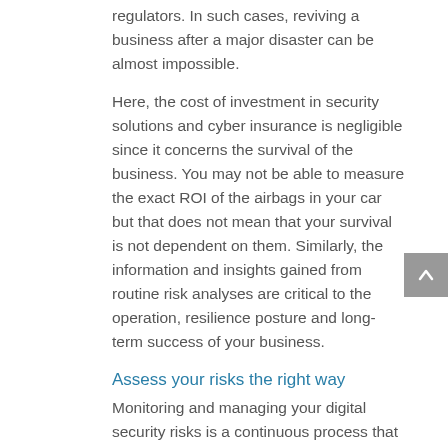regulators. In such cases, reviving a business after a major disaster can be almost impossible.
Here, the cost of investment in security solutions and cyber insurance is negligible since it concerns the survival of the business. You may not be able to measure the exact ROI of the airbags in your car but that does not mean that your survival is not dependent on them. Similarly, the information and insights gained from routine risk analyses are critical to the operation, resilience posture and long-term success of your business.
Assess your risks the right way
Monitoring and managing your digital security risks is a continuous process that must be done regularly and should be a part of your ongoing operational strategy.
Contact us today to perform a complete risk assessment of your digital infrastructure to help you